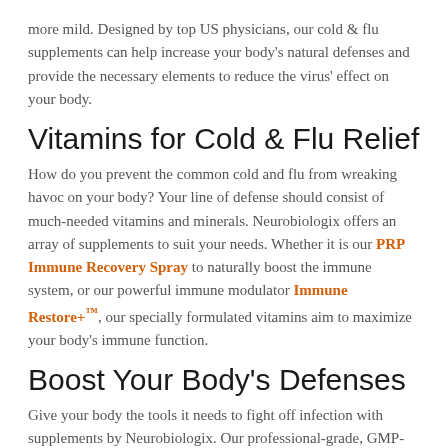more mild. Designed by top US physicians, our cold & flu supplements can help increase your body's natural defenses and provide the necessary elements to reduce the virus' effect on your body.
Vitamins for Cold & Flu Relief
How do you prevent the common cold and flu from wreaking havoc on your body? Your line of defense should consist of much-needed vitamins and minerals. Neurobiologix offers an array of supplements to suit your needs. Whether it is our PRP Immune Recovery Spray to naturally boost the immune system, or our powerful immune modulator Immune Restore+™, our specially formulated vitamins aim to maximize your body's immune function.
Boost Your Body's Defenses
Give your body the tools it needs to fight off infection with supplements by Neurobiologix. Our professional-grade, GMP-certified supplements can help you avoid the pain and suffering that comes with a cold or flu by naturally supporting and enhancing your immune system. Don't wait until you start